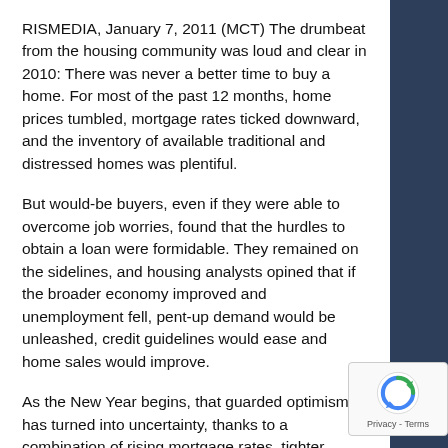RISMEDIA, January 7, 2011 (MCT) The drumbeat from the housing community was loud and clear in 2010: There was never a better time to buy a home. For most of the past 12 months, home prices tumbled, mortgage rates ticked downward, and the inventory of available traditional and distressed homes was plentiful.
But would-be buyers, even if they were able to overcome job worries, found that the hurdles to obtain a loan were formidable. They remained on the sidelines, and housing analysts opined that if the broader economy improved and unemployment fell, pent-up demand would be unleashed, credit guidelines would ease and home sales would improve.
As the New Year begins, that guarded optimism has turned into uncertainty, thanks to a combination of rising mortgage rates, tighter underwriting guidelines and sweeping government regulation. As a result, it's unlikely to get any easier and may, in fact, get much more difficult to buy a home in 2011.